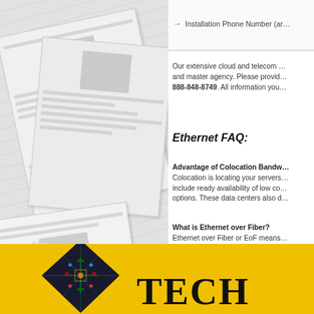[Figure (photo): Background image of scattered newspapers in grayscale]
→ Installation Phone Number (ar…
Our extensive cloud and telecom … and master agency. Please provid… 888-848-8749. All information you…
Ethernet FAQ:
Advantage of Colocation Bandw…
Colocation is locating your servers… include ready availability of low co… options. These data centers also d…
What is Ethernet over Fiber?
Ethernet over Fiber or EoF means… protocol networks. Your interface i…
[Figure (logo): TechMiami or similar Tech company logo on yellow background with circuit board diamond graphic and bold TECH text]